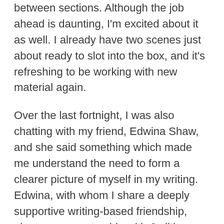between sections. Although the job ahead is daunting, I'm excited about it as well. I already have two scenes just about ready to slot into the box, and it's refreshing to be working with new material again.
Over the last fortnight, I was also chatting with my friend, Edwina Shaw, and she said something which made me understand the need to form a clearer picture of myself in my writing. Edwina, with whom I share a deeply supportive writing-based friendship, also won a mentorship with Judith Lukin-Amundsen last year, and the two of them recently met at a coffee shop in Brisbane (I've never met Judith – we just have phone-meets). At some point in their conversation, my name was mentioned, and Judith said to Edwina that she thought of me as petite, perhaps a little fragile (all that weeping!). 'Oh, no,' Edwina had said in surprise. 'Helena is tall, strong, beautiful!' Gee thanks, Edwina … I'll run